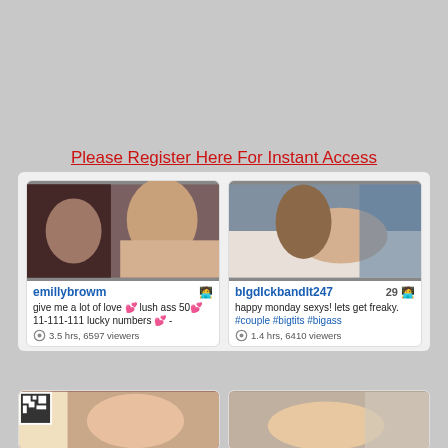Please Register Here For Instant Access
[Figure (screenshot): Webcam stream thumbnail of emillybrowm]
emillybrowm
give me a lot of love 💕 lush ass 50💕 11-111-111 lucky numbers 💕 -
3.5 hrs, 6597 viewers
[Figure (screenshot): Webcam stream thumbnail of bigdickbandit247]
bigdickbandit247  29
happy monday sexys! lets get freaky. #couple #bigtits #bigass
1.4 hrs, 6410 viewers
[Figure (screenshot): Webcam stream thumbnail bottom left]
[Figure (screenshot): Webcam stream thumbnail bottom right]